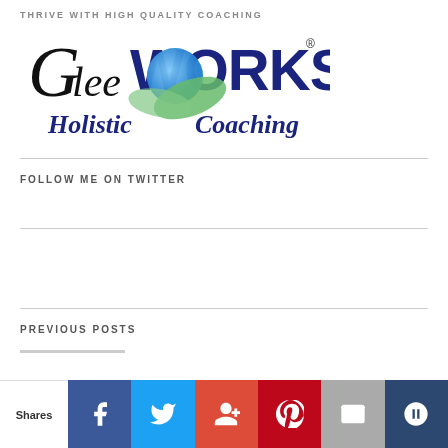THRIVE WITH HIGH QUALITY COACHING
[Figure (logo): GleeWORKS Holistic Coaching logo with globe and leaf imagery]
FOLLOW ME ON TWITTER
My Tweets
PREVIOUS POSTS